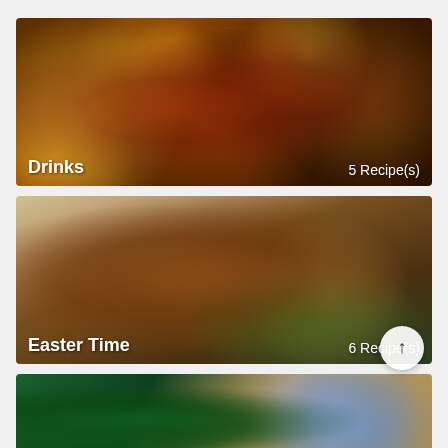[Figure (photo): Photo of mulled wine drinks with cinnamon sticks, star anise, orange slices in glass cups, warm bokeh lights background]
Drinks
5 Recipe(s)
[Figure (photo): Photo of roasted lamb leg on a baking tray with rosemary, garlic and roasted potatoes for Easter]
Easter Time
6 Recipe(s)
[Figure (photo): Partial photo of Christmas food with holly leaves, red berries and blue Christmas ornament balls visible at top]